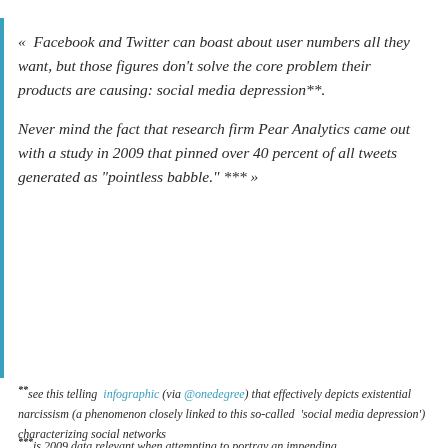« Facebook and Twitter can boast about user numbers all they want, but those figures don't solve the core problem their products are causing: social media depression**.

Never mind the fact that research firm Pear Analytics came out with a study in 2009 that pinned over 40 percent of all tweets generated as "pointless babble." *** »
**see this telling infographic (via @onedegree) that effectively depicts existential narcissism (a phenomenon closely linked to this so-called 'social media depression') characterizing social networks
***is 2009 data relevant when attempting to portray an impending